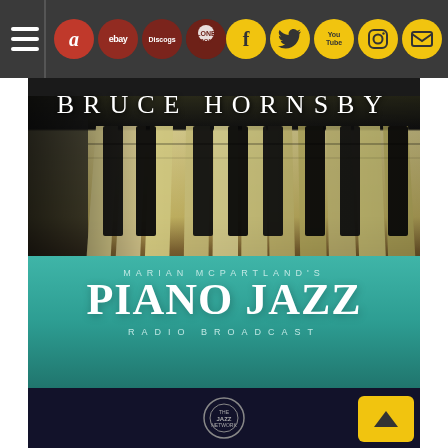[Figure (screenshot): Website navigation bar with hamburger menu, shopping icons (Amazon, eBay, Discogs, other), and social media icons (Facebook, Twitter, YouTube, Instagram, email) on dark grey background]
[Figure (photo): Album cover for Bruce Hornsby - Marian McPartland's Piano Jazz Radio Broadcast. Shows close-up of piano keys (black and white) with artist name 'BRUCE HORNSBY' in serif letters at top, teal/green band at bottom with 'MARIAN McPARTLAND'S PIANO JAZZ RADIO BROADCAST' text, and small logo at bottom center. Yellow back-to-top button in bottom right corner.]